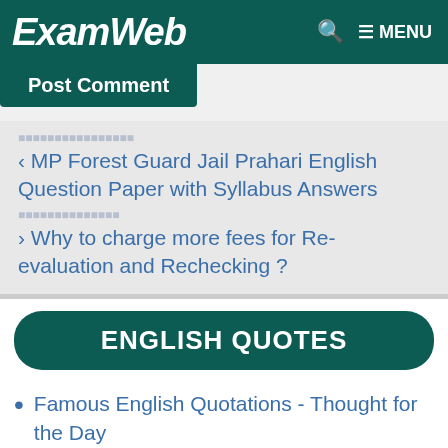ExamWeb  MENU
Post Comment
< MP Forest Guard Jail Prahari English Question Paper with Syllabus Answers
> Why to charge more fees for Re-evaluation and Rechecking ?
ENGLISH QUOTES
Famous English Quotations - Thought for the Day
Success Mantra - Golden Steps for 100% Success - Do Read